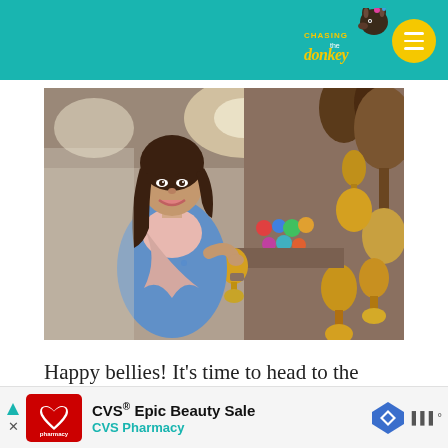Chasing the Donkey
[Figure (photo): A smiling young woman wearing a floral blue top and pink scarf, browsing decorative metalwork items including golden oil lamp-shaped ornaments and ceramic pottery at what appears to be the Grand Bazaar marketplace.]
Happy bellies! It's time to head to the Grand
[Figure (screenshot): Advertisement banner for CVS Pharmacy - 'CVS® Epic Beauty Sale' with CVS pharmacy logo, a navigation/map icon, and weather icon on the right side.]